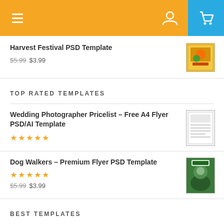Navigation bar with menu, person icon, and cart icon
Harvest Festival PSD Template
$5.99 $3.99
TOP RATED TEMPLATES
Wedding Photographer Pricelist – Free A4 Flyer PSD/AI Template
★★★★★
Dog Walkers – Premium Flyer PSD Template
★★★★★
$5.99 $3.99
BEST TEMPLATES